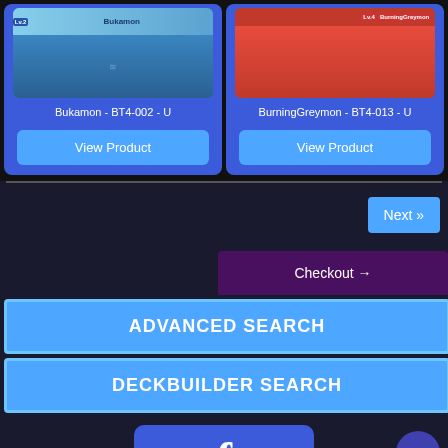[Figure (screenshot): Bukamon card product thumbnail with blue background]
Bukamon - BT4-002 - U
View Product
[Figure (screenshot): BurningGreymon card product thumbnail with red background]
BurningGreymon - BT4-013 - U
View Product
Next »
Checkout →
ADVANCED SEARCH
DECKBUILDER SEARCH
[Figure (logo): Facebook logo partial view at bottom]
↑